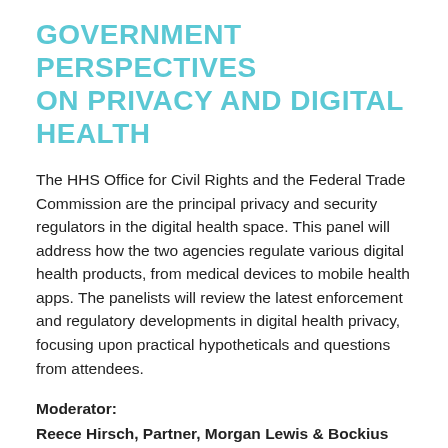GOVERNMENT PERSPECTIVES ON PRIVACY AND DIGITAL HEALTH
The HHS Office for Civil Rights and the Federal Trade Commission are the principal privacy and security regulators in the digital health space. This panel will address how the two agencies regulate various digital health products, from medical devices to mobile health apps. The panelists will review the latest enforcement and regulatory developments in digital health privacy, focusing upon practical hypotheticals and questions from attendees.
Moderator:
Reece Hirsch, Partner, Morgan Lewis & Bockius LLP
Panelists: